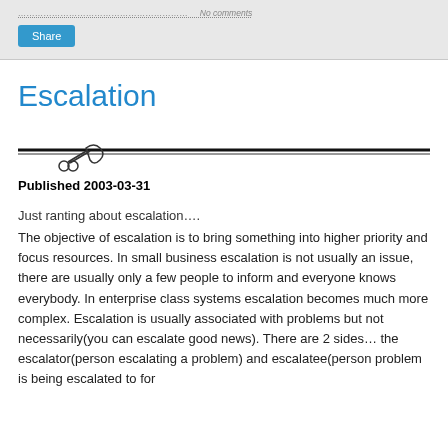Published 2003-03-31 …………………………… No comments
[Figure (other): Share button in blue]
Escalation
[Figure (other): Decorative scissors/divider line graphic]
Published 2003-03-31
Just ranting about escalation….
The objective of escalation is to bring something into higher priority and focus resources. In small business escalation is not usually an issue, there are usually only a few people to inform and everyone knows everybody. In enterprise class systems escalation becomes much more complex. Escalation is usually associated with problems but not necessarily(you can escalate good news). There are 2 sides… the escalator(person escalating a problem) and escalatee(person problem is being escalated to for